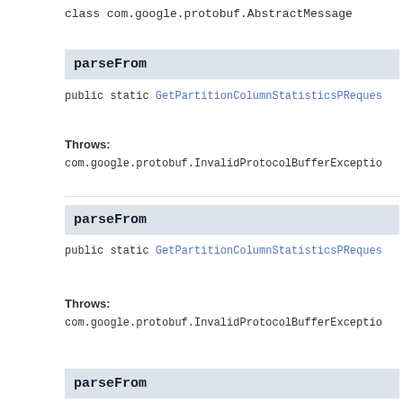class com.google.protobuf.AbstractMessage
parseFrom
public static GetPartitionColumnStatisticsPReques
Throws:
com.google.protobuf.InvalidProtocolBufferExceptio
parseFrom
public static GetPartitionColumnStatisticsPReques
Throws:
com.google.protobuf.InvalidProtocolBufferExceptio
parseFrom